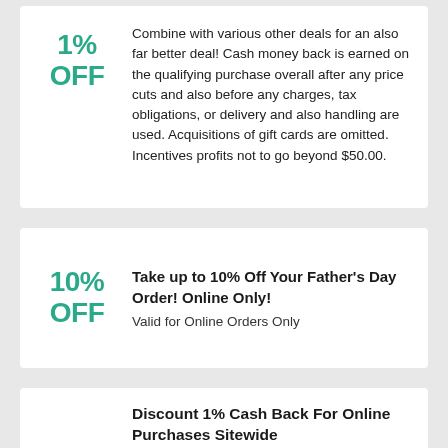1% OFF — Combine with various other deals for an also far better deal! Cash money back is earned on the qualifying purchase overall after any price cuts and also before any charges, tax obligations, or delivery and also handling are used. Acquisitions of gift cards are omitted. Incentives profits not to go beyond $50.00.
10% OFF — Take up to 10% Off Your Father's Day Order! Online Only! Valid for Online Orders Only
Discount 1% Cash Back For Online Purchases Sitewide
1% — Combine with various other offers for an even far better offer! Cash back is earned on the